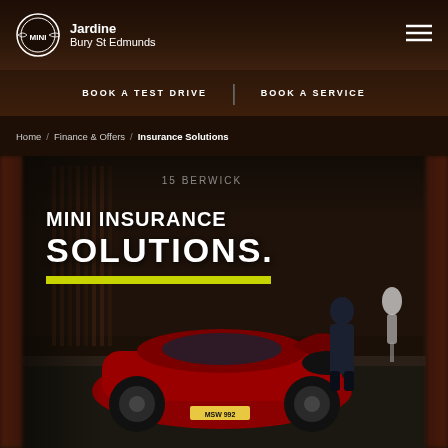Jardine Bury St Edmunds
BOOK A TEST DRIVE | BOOK A SERVICE
Home / Finance & Offers / Insurance Solutions
[Figure (photo): Hero image of a red MINI car with boot open, person loading items, outside a shop. Text overlay reads MINI INSURANCE SOLUTIONS with a yellow highlight bar.]
MINI INSURANCE SOLUTIONS.